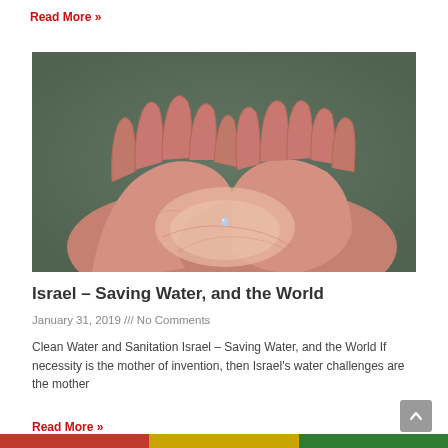Read More »
[Figure (photo): Two open hands held out together, palms up, with a tiny drop of water visible, against a muted green-grey background.]
Israel – Saving Water, and the World
January 31, 2019 /// No Comments
Clean Water and Sanitation Israel – Saving Water, and the World If necessity is the mother of invention, then Israel's water challenges are the mother
Read More »